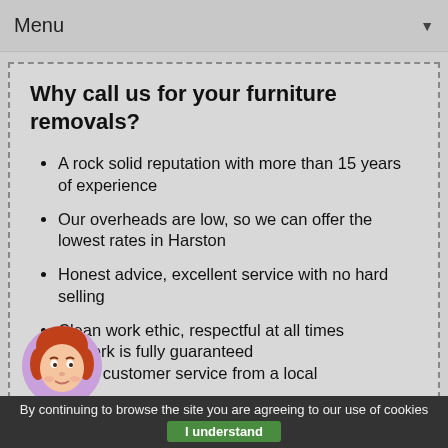Menu
Why call us for your furniture removals?
A rock solid reputation with more than 15 years of experience
Our overheads are low, so we can offer the lowest rates in Harston
Honest advice, excellent service with no hard selling
Clean work ethic, respectful at all times
All work is fully guaranteed
Great customer service from a local
By continuing to browse the site you are agreeing to our use of cookies  I understand